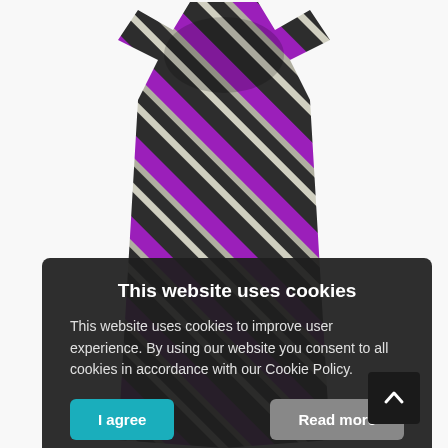[Figure (photo): A purple, dark grey/charcoal, and white diagonal-striped necktie photographed against a white background, showing the full knot and blade of the tie.]
This website uses cookies
This website uses cookies to improve user experience. By using our website you consent to all cookies in accordance with our Cookie Policy.
I agree
Read more